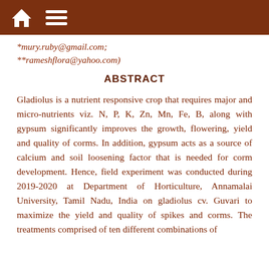🏠 ☰
*mury.ruby@gmail.com;
**rameshflora@yahoo.com)
ABSTRACT
Gladiolus is a nutrient responsive crop that requires major and micro-nutrients viz. N, P, K, Zn, Mn, Fe, B, along with gypsum significantly improves the growth, flowering, yield and quality of corms. In addition, gypsum acts as a source of calcium and soil loosening factor that is needed for corm development. Hence, field experiment was conducted during 2019-2020 at Department of Horticulture, Annamalai University, Tamil Nadu, India on gladiolus cv. Guvari to maximize the yield and quality of spikes and corms. The treatments comprised of ten different combinations of